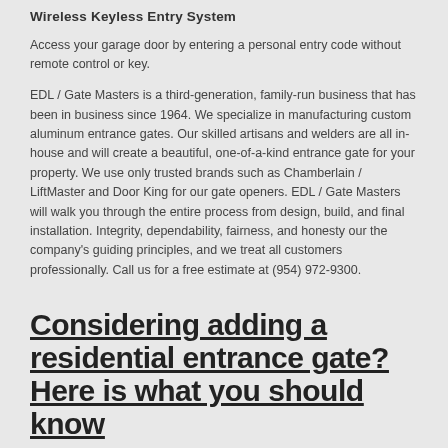Wireless Keyless Entry System
Access your garage door by entering a personal entry code without remote control or key.
EDL / Gate Masters is a third-generation, family-run business that has been in business since 1964. We specialize in manufacturing custom aluminum entrance gates. Our skilled artisans and welders are all in-house and will create a beautiful, one-of-a-kind entrance gate for your property. We use only trusted brands such as Chamberlain / LiftMaster and Door King for our gate openers. EDL / Gate Masters will walk you through the entire process from design, build, and final installation. Integrity, dependability, fairness, and honesty our the company's guiding principles, and we treat all customers professionally. Call us for a free estimate at (954) 972-9300.
Considering adding a residential entrance gate? Here is what you should know